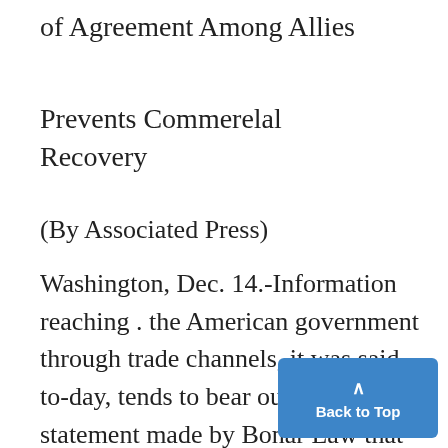of Agreement Among Allies
Prevents Commerelal Recovery
(By Associated Press)
Washington, Dec. 14.-Information reaching . the American government through trade channels, it was said to-day, tends to bear out the statement made by Bonar Law that an economic collapse is threatening Germany. Inj fact Germany seems to be appr…ing the point where she will be…ble .to import food in sufficient quan-